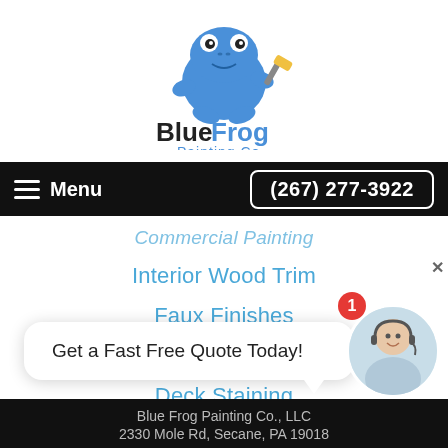[Figure (logo): Blue Frog Painting Co. logo with a blue cartoon frog holding a paint roller, text 'BlueFrog Painting Co.']
Menu  (267) 277-3922
Commercial Painting (partial)
Interior Wood Trim
Faux Finishes
Drywall Repair
Deck Staining
Pressure Washing
Get a Fast Free Quote Today!
Blue Frog Painting Co., LLC
2330 Mole Rd, Secane, PA 19018